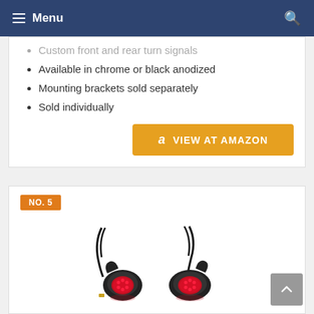Menu
Custom front and rear turn signals
Available in chrome or black anodized
Mounting brackets sold separately
Sold individually
VIEW AT AMAZON
NO. 5
[Figure (photo): Two black bullet-style motorcycle LED turn signals/brake lights with red LED lenses, wired together, shown on white background.]